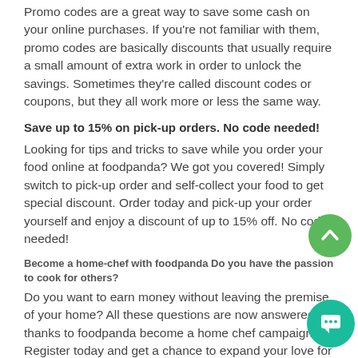Promo codes are a great way to save some cash on your online purchases. If you're not familiar with them, promo codes are basically discounts that usually require a small amount of extra work in order to unlock the savings. Sometimes they're called discount codes or coupons, but they all work more or less the same way.
Save up to 15% on pick-up orders. No code needed!
Looking for tips and tricks to save while you order your food online at foodpanda? We got you covered! Simply switch to pick-up order and self-collect your food to get special discount. Order today and pick-up your order yourself and enjoy a discount of up to 15% off. No code needed!
Become a home-chef with foodpanda Do you have the passion to cook for others?
Do you want to earn money without leaving the premise of your home? All these questions are now answered thanks to foodpanda become a home chef campaign. Register today and get a chance to expand your love for cooking to a larger audience